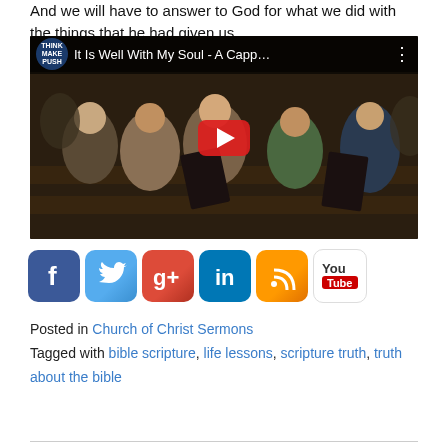And we will have to answer to God for what we did with the things that he had given us.
[Figure (screenshot): Embedded YouTube video thumbnail showing a church congregation singing from hymnals in pews. Video title reads 'It Is Well With My Soul - A Capp...' with a Think Make Push channel logo. Large red play button in center.]
[Figure (infographic): Row of social media sharing icons: Facebook, Twitter, Google+, LinkedIn, RSS feed, YouTube]
Posted in Church of Christ Sermons
Tagged with bible scripture, life lessons, scripture truth, truth about the bible